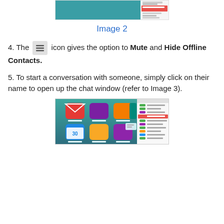[Figure (screenshot): Screenshot of a chat contacts panel with a highlighted contact]
Image 2
4. The [hamburger icon] icon gives the option to Mute and Hide Offline Contacts.
5. To start a conversation with someone, simply click on their name to open up the chat window (refer to Image 3).
[Figure (screenshot): Screenshot of a web application dashboard showing Mail, Notepad, People, Calendar, Files, and Group app icons with a contacts panel on the right side]